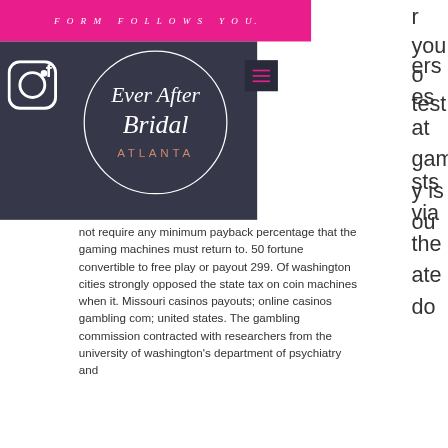Form Follows You.
[Figure (logo): Ever After Bridal Atlanta logo — circular white outline on dark background with script text 'Ever After Bridal' and 'ATLANTA' in spaced serif capitals]
r you o test ers es at game y is ou sts via the ate do not require any minimum payback percentage that the gaming machines must return to. 50 fortune convertible to free play or payout 299. Of washington cities strongly opposed the state tax on coin machines when it. Missouri casinos payouts; online casinos gambling com; united states. The gambling commission contracted with researchers from the university of washington's department of psychiatry and